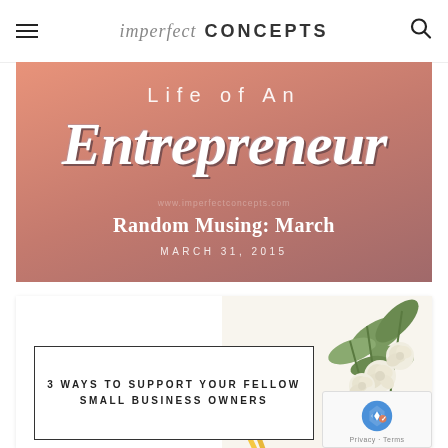imperfect CONCEPTS
[Figure (illustration): Hero banner with salmon/rose gradient background. Text reads 'Life of An' in light spaced letters at top, large decorative script 'Entrepreneur' in white with dark shadow, then 'Random Musing: March' in white serif bold, and 'MARCH 31, 2015' in small spaced caps. Watermark www.imperfectconcepts.com visible.]
[Figure (photo): Lifestyle blog card image with white roses/flowers on right side, pencils on left, white background. Overlaid text box with border reading '3 WAYS TO SUPPORT YOUR FELLOW SMALL BUSINESS OWNERS'. reCAPTCHA badge visible at bottom right.]